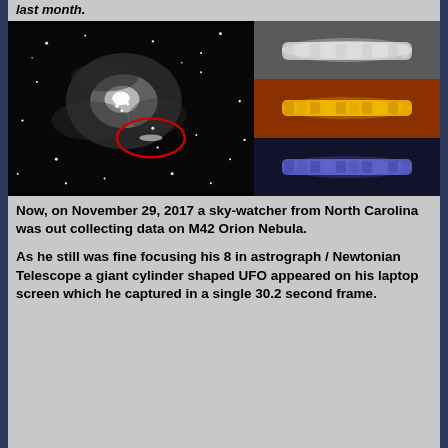last month.
[Figure (photo): Left: black and white telescopic image of M42 Orion Nebula with a red oval highlighting a small cylinder-shaped UFO object. Right: three color-enhanced close-up strips of the object — grayscale on dark gray background (top), yellow on red/brown background (middle), blue on dark navy background (bottom).]
Now, on November 29, 2017 a sky-watcher from North Carolina was out collecting data on M42 Orion Nebula.
As he still was fine focusing his 8 in astrograph / Newtonian Telescope a giant cylinder shaped UFO appeared on his laptop screen which he captured in a single 30.2 second frame.